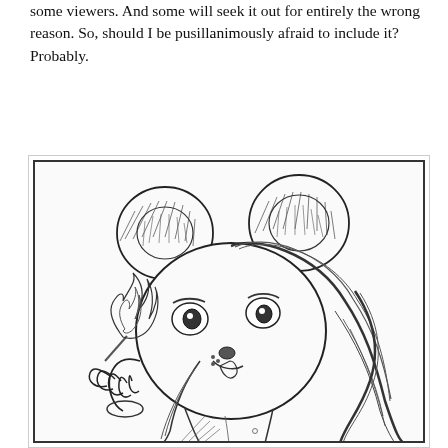some viewers. And some will seek it out for entirely the wrong reason. So, should I be pusillanimously afraid to include it? Probably.
[Figure (illustration): A pencil sketch illustration of a female mouse character (similar to a cartoon mouse) with large round ears, long hair, holding a lit match with a small flame in one hand, depicted from the torso up with a mischievous expression and tongue slightly out. Detailed crosshatch shading throughout.]